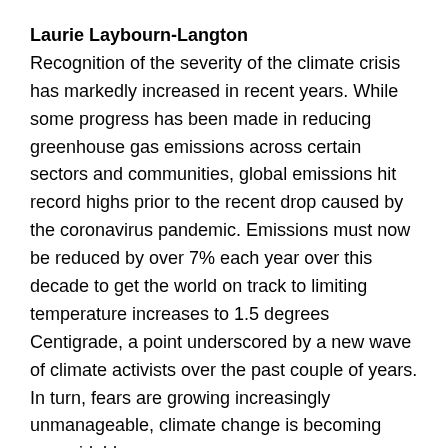Laurie Laybourn-Langton Recognition of the severity of the climate crisis has markedly increased in recent years. While some progress has been made in reducing greenhouse gas emissions across certain sectors and communities, global emissions hit record highs prior to the recent drop caused by the coronavirus pandemic. Emissions must now be reduced by over 7% each year over this decade to get the world on track to limiting temperature increases to 1.5 degrees Centigrade, a point underscored by a new wave of climate activists over the past couple of years. In turn, fears are growing increasingly unmanageable, climate change is becoming unavoidable.
In this episode, we explore the status of the climate crisis. And to do so I'm joined by Dr. Michael Mann, a globally renowned climate expert who is currently Distinguished Professor of Atmospheric Science at Penn State, Director of the Penn State Earth System Science Center, and he was recently elected to the USA National Academy of Sciences. Mic...